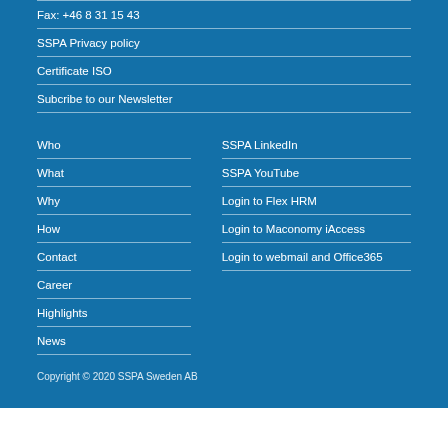Fax: +46 8 31 15 43
SSPA Privacy policy
Certificate ISO
Subcribe to our Newsletter
Who
What
Why
How
Contact
Career
Highlights
News
SSPA LinkedIn
SSPA YouTube
Login to Flex HRM
Login to Maconomy iAccess
Login to webmail and Office365
Copyright © 2020 SSPA Sweden AB